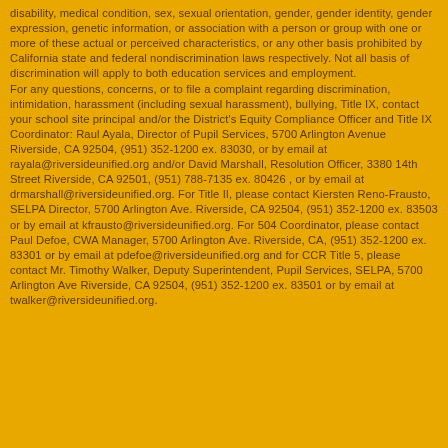disability, medical condition, sex, sexual orientation, gender, gender identity, gender expression, genetic information, or association with a person or group with one or more of these actual or perceived characteristics, or any other basis prohibited by California state and federal nondiscrimination laws respectively. Not all basis of discrimination will apply to both education services and employment.
For any questions, concerns, or to file a complaint regarding discrimination, intimidation, harassment (including sexual harassment), bullying, Title IX, contact your school site principal and/or the District's Equity Compliance Officer and Title IX Coordinator: Raul Ayala, Director of Pupil Services, 5700 Arlington Avenue Riverside, CA 92504, (951) 352-1200 ex. 83030, or by email at rayala@riversideunified.org and/or David Marshall, Resolution Officer, 3380 14th Street Riverside, CA 92501, (951) 788-7135 ex. 80426 , or by email at drmarshall@riversideunified.org. For Title II, please contact Kiersten Reno-Frausto, SELPA Director, 5700 Arlington Ave. Riverside, CA 92504, (951) 352-1200 ex. 83503 or by email at kfrausto@riversideunified.org. For 504 Coordinator, please contact Paul Defoe, CWA Manager, 5700 Arlington Ave. Riverside, CA, (951) 352-1200 ex. 83301 or by email at pdefoe@riversideunified.org and for CCR Title 5, please contact Mr. Timothy Walker, Deputy Superintendent, Pupil Services, SELPA, 5700 Arlington Ave Riverside, CA 92504, (951) 352-1200 ex. 83501 or by email at twalker@riversideunified.org.